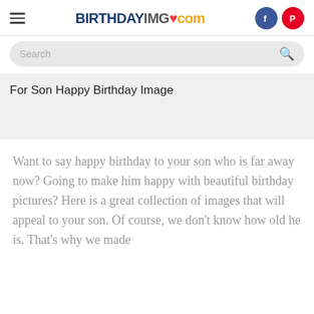BIRTHDAYIMG.com
For Son Happy Birthday Image
Want to say happy birthday to your son who is far away now? Going to make him happy with beautiful birthday pictures? Here is a great collection of images that will appeal to your son. Of course, we don't know how old he is. That's why we made